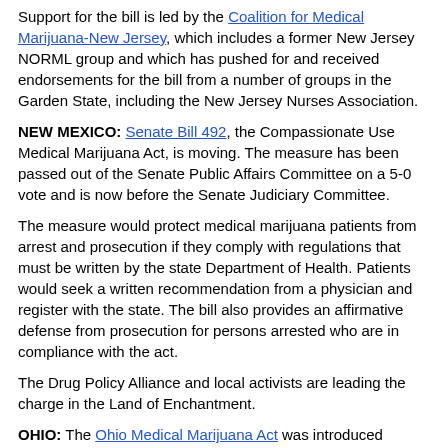Support for the bill is led by the Coalition for Medical Marijuana-New Jersey, which includes a former New Jersey NORML group and which has pushed for and received endorsements for the bill from a number of groups in the Garden State, including the New Jersey Nurses Association.
NEW MEXICO: Senate Bill 492, the Compassionate Use Medical Marijuana Act, is moving. The measure has been passed out of the Senate Public Affairs Committee on a 5-0 vote and is now before the Senate Judiciary Committee.
The measure would protect medical marijuana patients from arrest and prosecution if they comply with regulations that must be written by the state Department of Health. Patients would seek a written recommendation from a physician and register with the state. The bill also provides an affirmative defense from prosecution for persons arrested who are in compliance with the act.
The Drug Policy Alliance and local activists are leading the charge in the Land of Enchantment.
OHIO: The Ohio Medical Marijuana Act was introduced February 17 by Sen. Robert Hagan (D-Youngstown). The bill would allow doctors to recommend marijuana for a variety of conditions, including HIV/AIDS and other wasting diseases, epilepsy, glaucoma, Multiple Sclerosis, muscle spasticity, cancer, cachexia, Reflex Sympathetic Dystrophy, Crohn's disease, nausea and chronic pain. Patients would register with the state Department of Health and receive an ID card protecting them from arrest. The Ohio bill does not set quantity limits; instead, patients may possess "an adequate supply" of marijuana, which the bill defines